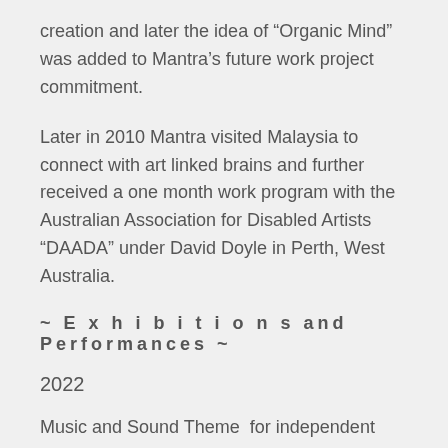creation and later the idea of “Organic Mind” was added to Mantra’s future work project commitment.
Later in 2010 Mantra visited Malaysia to connect with art linked brains and further received a one month work program with the Australian Association for Disabled Artists “DAADA” under David Doyle in Perth, West Australia.
~ E x h i b i t i o n s and Performances ~
2022
Music and Sound Theme  for independent